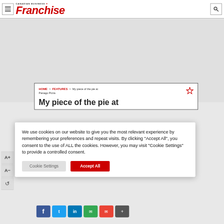Canadian Business Franchise — menu icon, logo, search icon
HOME > FEATURES > My piece of the pie at Panago Pizza
My piece of the pie at
We use cookies on our website to give you the most relevant experience by remembering your preferences and repeat visits. By clicking "Accept All", you consent to the use of ALL the cookies. However, you may visit "Cookie Settings" to provide a controlled consent.
Cookie Settings | Accept All